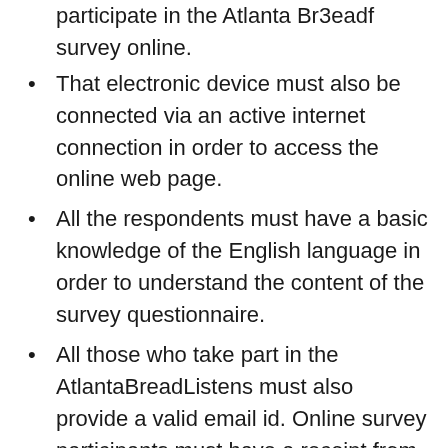participate in the Atlanta Br3eadf survey online.
That electronic device must also be connected via an active internet connection in order to access the online web page.
All the respondents must have a basic knowledge of the English language in order to understand the content of the survey questionnaire.
All those who take part in the AtlantaBreadListens must also provide a valid email id. Online survey participants must have a receipt from any.
Atlanta Bread purchase that is no more than 7 days old. These are the requirements of the